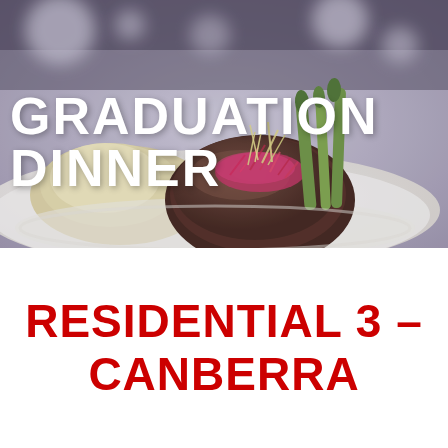[Figure (photo): A plated gourmet dinner dish with a filet of meat topped with pink/red microgreens and yellow sprouts, served with mashed potatoes and asparagus on a white plate. Background is blurred with bokeh lights suggesting an elegant event setting.]
GRADUATION DINNER
RESIDENTIAL 3 – CANBERRA